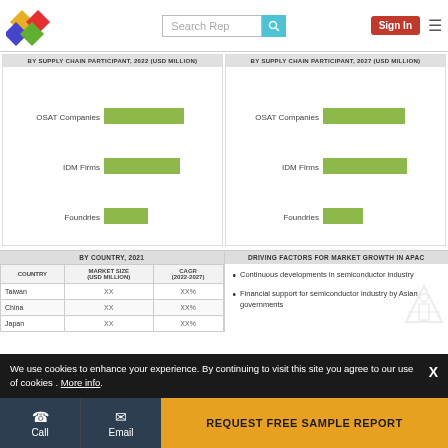Search Rep | Sign In
[Figure (bar-chart): BY SUPPLY CHAIN PARTICIPANT, 2022 (USD MILLION)]
[Figure (bar-chart): BY SUPPLY CHAIN PARTICIPANT, 2027 (USD MILLION)]
BY COUNTRY, 2021
| COUNTRY | MARKET SIZE (USD MILLION) | CAGR (2022-2027) |
| --- | --- | --- |
| Taiwan | XX | XX% |
| China | XX | XX% |
| Japan | XX | XX% |
DRIVING FACTORS FOR MARKET GROWTH IN APAC
Continuous developments in semiconductor industry
Financial support for semiconductor industry by Asian governments
We use cookies to enhance your experience. By continuing to visit this site you agree to our use of cookies . More info.
Call | Email | REQUEST FREE SAMPLE REPORT